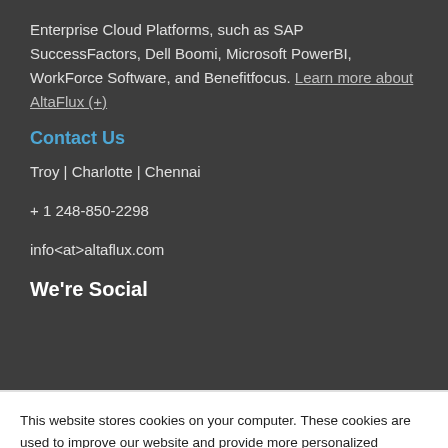Enterprise Cloud Platforms, such as SAP SuccessFactors, Dell Boomi, Microsoft PowerBI, WorkForce Software, and Benefitfocus. Learn more about AltaFlux (+)
Contact Us
Troy  |  Charlotte  |   Chennai
+ 1 248-850-2298
info<at>altaflux.com
We're Social
This website stores cookies on your computer. These cookies are used to improve our website and provide more personalized services to you, both on this website and through other media. To find out more about the cookies we use, see our Privacy Policy.